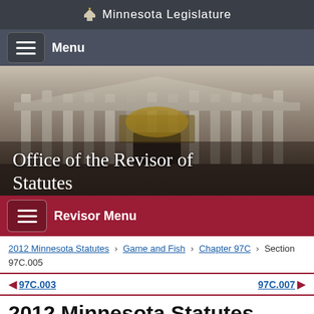Minnesota Legislature
[Figure (screenshot): Navigation menu bar with hamburger icon and Menu label on dark gray background]
[Figure (photo): Minnesota State Capitol building with golden chariot sculpture, overlaid with text: Office of the Revisor of Statutes]
[Figure (screenshot): Revisor Menu bar with hamburger icon on dark red background]
2012 Minnesota Statutes > Game and Fish > Chapter 97C > Section 97C.005
◀ 97C.003    97C.007 ▶
2012 Minnesota Statutes